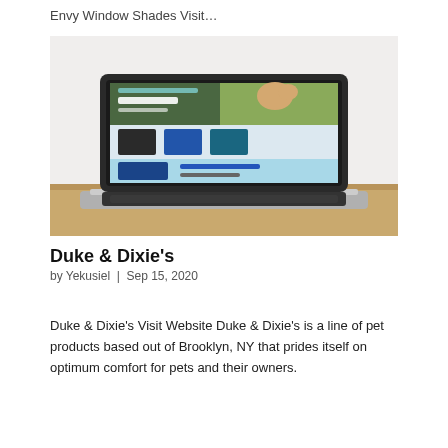Envy Window Shades Visit…
[Figure (screenshot): A laptop on a wooden desk displaying the Duke & Dixie's website, showing a dog, product images, and a blue promotional banner.]
Duke & Dixie's
by Yekusiel | Sep 15, 2020
Duke & Dixie's Visit Website Duke & Dixie's is a line of pet products based out of Brooklyn, NY that prides itself on optimum comfort for pets and their owners.